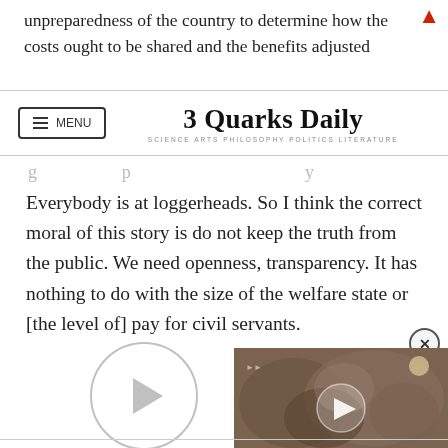3 Quarks Daily — SCIENCE ARTS PHILOSOPHY POLITICS LITERATURE
unpreparedness of the country to determine how the costs ought to be shared and the benefits adjusted
Everybody is at loggerheads. So I think the correct moral of this story is do not keep the truth from the public. We need openness, transparency. It has nothing to do with the size of the welfare state or [the level of] pay for civil servants.
[Figure (other): Circular play button icon with light gray border on white background]
[Figure (photo): Video player overlay showing an animal (possibly an otter or similar creature) with a play button overlay, positioned in the bottom right area]